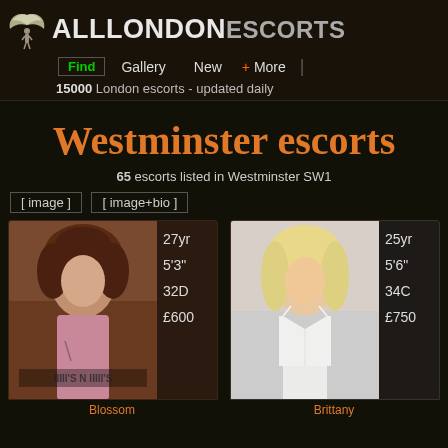ALL LONDON ESCORTS — Find | Gallery | New | + More
15000 London escorts - updated daily
Westminster escorts
65 escorts listed in Westminster SW1
[ image ] [ image+bio ]
[Figure (photo): Photo of Blossom, escort listing: 27yr, 5'3", 32D, £600]
Blossom
[Figure (photo): Photo of Brittany, escort listing: 25yr, 5'6", 34C, £750]
Brittany